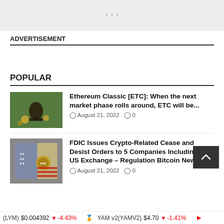[Figure (other): Top banner with light gray background, partially visible text/heading]
ADVERTISEMENT
POPULAR
[Figure (photo): Thumbnail image of coins and a small jar/bottle on a wooden surface - Ethereum Classic article]
Ethereum Classic [ETC]: When the next market phase rolls around, ETC will be...
August 21, 2022  0
[Figure (photo): Thumbnail image of FDIC Federal Deposit Insurance Corporation sign with American flag - FDIC article]
FDIC Issues Crypto-Related Cease and Desist Orders to 5 Companies Including FTX US Exchange – Regulation Bitcoin News
August 21, 2022  0
(LYM) $0.004392  ↓ -4.43%   YAM v2(YAMV2) $4.70  ↓ -1.41%